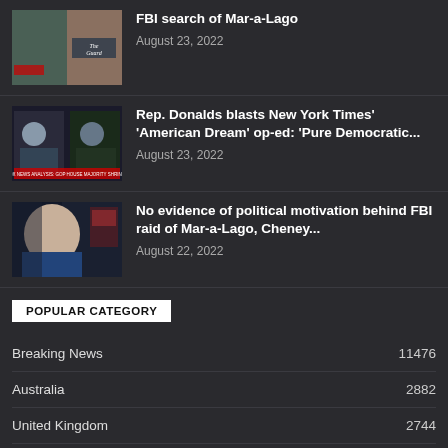[Figure (photo): Thumbnail image of The Guardian article about FBI search of Mar-a-Lago]
FBI search of Mar-a-Lago
August 23, 2022
[Figure (photo): Thumbnail image showing TV news segment with two people for Rep. Donalds article]
Rep. Donalds blasts New York Times' 'American Dream' op-ed: 'Pure Democratic...'
August 23, 2022
[Figure (photo): Thumbnail image of a woman (Cheney) for the Mar-a-Lago FBI raid article]
No evidence of political motivation behind FBI raid of Mar-a-Lago, Cheney...
August 22, 2022
POPULAR CATEGORY
Breaking News 11476
Australia 2882
United Kingdom 2744
Canada 2435